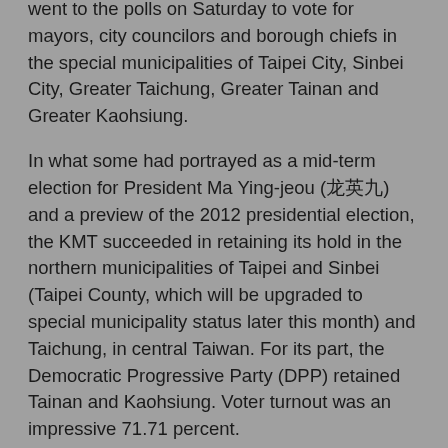went to the polls on Saturday to vote for mayors, city councilors and borough chiefs in the special municipalities of Taipei City, Sinbei City, Greater Taichung, Greater Tainan and Greater Kaohsiung.
In what some had portrayed as a mid-term election for President Ma Ying-jeou (馬英九) and a preview of the 2012 presidential election, the KMT succeeded in retaining its hold in the northern municipalities of Taipei and Sinbei (Taipei County, which will be upgraded to special municipality status later this month) and Taichung, in central Taiwan. For its part, the Democratic Progressive Party (DPP) retained Tainan and Kaohsiung. Voter turnout was an impressive 71.71 percent.
In the lead-up to the elections, both parties had argued that winning three municipalities would be considered "overall victory." During the last weeks of what turned out to be essentially clean electoral campaigns, the races in Sinbei, historically split between the pan-green and pan-blue camps, and Taipei, a pan-blue stronghold, became increasingly close — indeed too close to call.
The race in Taipei, the capital city, pitted incumbent Mayor...